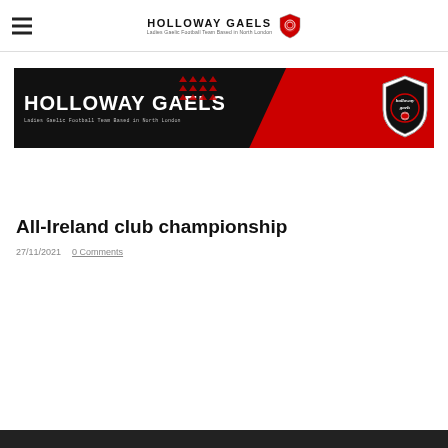HOLLOWAY GAELS — Ladies Gaelic Football Team Based in North London
[Figure (logo): Holloway Gaels banner — black background with white bold text 'HOLLOWAY GAELS', subtitle 'Ladies Gaelic Football Team Based in North London', red diagonal section on right with triangle dot pattern, and circular club crest/shield on far right.]
All-Ireland club championship
27/11/2021   0 Comments
[Figure (photo): Partial dark image strip at bottom of page]